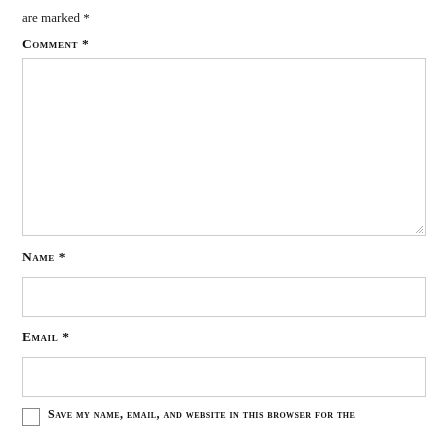are marked *
Comment *
[Figure (other): Large empty textarea input box for comment entry with resize handle at bottom-right corner]
Name *
[Figure (other): Single-line text input box for name entry]
Email *
[Figure (other): Single-line text input box for email entry]
Save my name, email, and website in this browser for the
[Figure (other): Unchecked checkbox]